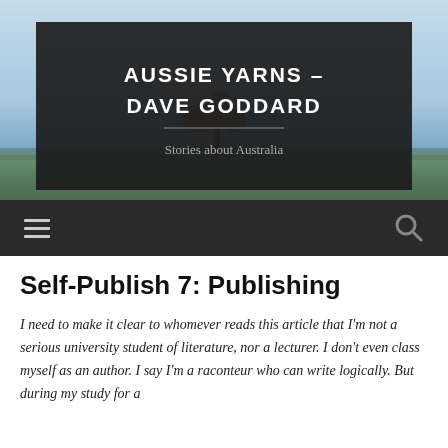[Figure (photo): Landscape photo of Australian outback with blue sky and a tree silhouette in the background, with a dark semi-transparent overlay containing the site title and subtitle]
AUSSIE YARNS – DAVE GODDARD
Stories about Australia
≡  🔍
Self-Publish 7: Publishing
I need to make it clear to whomever reads this article that I'm not a serious university student of literature, nor a lecturer. I don't even class myself as an author. I say I'm a raconteur who can write logically. But during my study for a